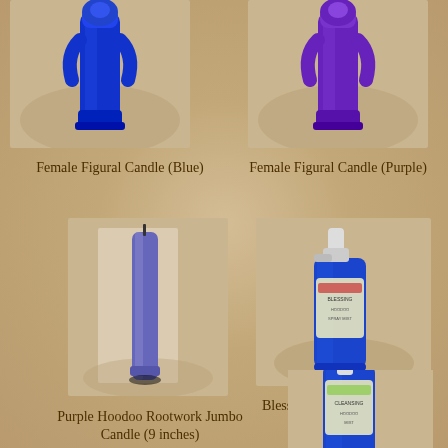[Figure (photo): Female figural candle in blue color]
Female Figural Candle (Blue)
[Figure (photo): Female figural candle in purple color]
Female Figural Candle (Purple)
[Figure (photo): Purple Hoodoo Rootwork jumbo candle, 9 inches tall]
Purple Hoodoo Rootwork Jumbo Candle (9 inches)
[Figure (photo): Blessing Hoodoo Spray Mist bottle in blue]
Blessing Hoodoo Spray Mist
[Figure (photo): Another spray mist bottle partially visible at bottom right]